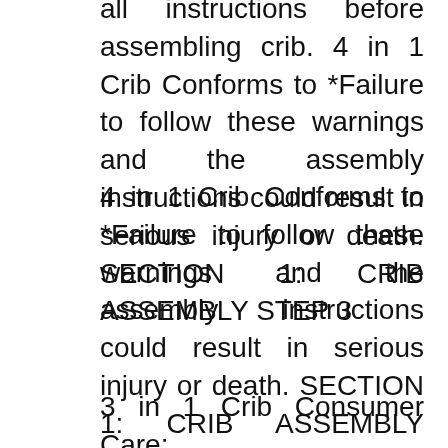all instructions before assembling crib. 4 in 1 Crib Conforms to *Failure to follow these warnings and the assembly instructions could result in serious injury or death. SECTION 1: CRIB ASSEMBLY STEP 3
4 in 1 Crib Conforms to *Failure to follow these warnings and the assembly instructions could result in serious injury or death. SECTION 1: CRIB ASSEMBLY STEP 3 It looks a bit big, but it is a 3-in-1 crib that goes from a crib to daybed to full size with headboard and foot board.
3 in 1 Crib Consumer Care: www.DeltaChildren.com Delta Children's Products Read all instructions before